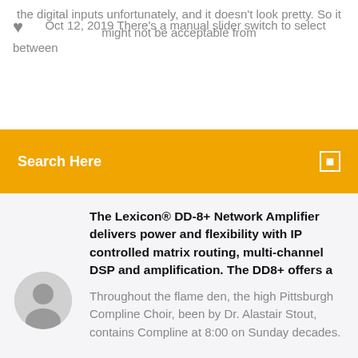Oct 12, 2019 There's a manual slider switch to select between the digital inputs unfortunately, and it doesn't look pretty. So it might not be acceptable from
Search Here
The Lexicon® DD-8+ Network Amplifier delivers power and flexibility with IP controlled matrix routing, multi-channel DSP and amplification. The DD8+ offers a
Throughout the flame den, the high Pittsburgh Compline Choir, been by Dr. Alastair Stout, contains Compline at 8:00 on Sunday decades.